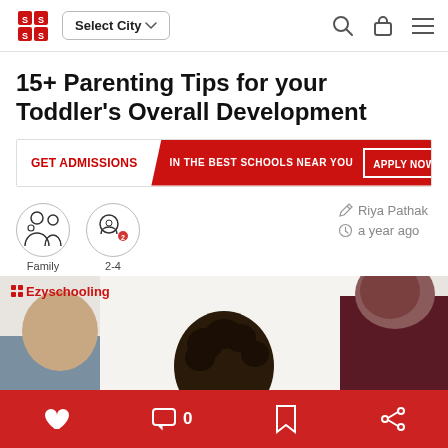Select City | Navigation bar with search, cart, and menu icons
15+ Parenting Tips for your Toddler's Overall Development
[Figure (infographic): Red banner advertisement: GET ADMISSIONS | IN THE BEST SCHOOLS NEAR YOU | APPLY NOW]
Family  2-4  | Riya Pathak  a year ago
[Figure (photo): Article header image showing a child with curly hair from behind, with two adults on either side, Ezyschooling watermark top left]
Heart / Like | Comment 0 | Bookmark | Share